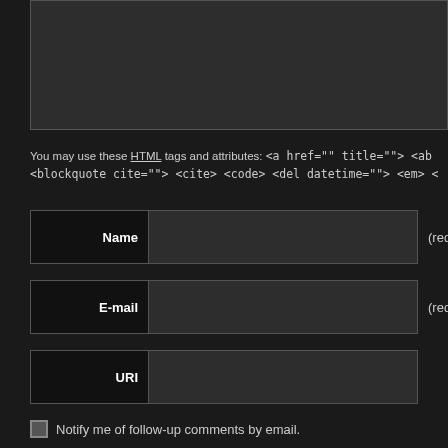[Figure (screenshot): Dark textarea input field at the top of a comment form]
You may use these HTML tags and attributes: <a href="" title=""> <ab <blockquote cite=""> <cite> <code> <del datetime=""> <em> <
[Figure (screenshot): Comment form with Name (required), E-mail (required), URI input fields, two checkboxes for email notifications, and a pink Submit Comment button]